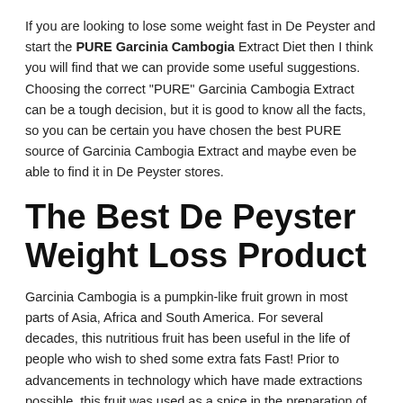If you are looking to lose some weight fast in De Peyster and start the PURE Garcinia Cambogia Extract Diet then I think you will find that we can provide some useful suggestions. Choosing the correct "PURE" Garcinia Cambogia Extract can be a tough decision, but it is good to know all the facts, so you can be certain you have chosen the best PURE source of Garcinia Cambogia Extract and maybe even be able to find it in De Peyster stores.
The Best De Peyster Weight Loss Product
Garcinia Cambogia is a pumpkin-like fruit grown in most parts of Asia, Africa and South America. For several decades, this nutritious fruit has been useful in the life of people who wish to shed some extra fats Fast! Prior to advancements in technology which have made extractions possible, this fruit was used as a spice in the preparation of local dishes because its aroma was said to reduce hunger pang intervals in humans. In some Asian countries such as Malaysia and Indonesia, this fruit was eaten raw for the same purpose. Though the working